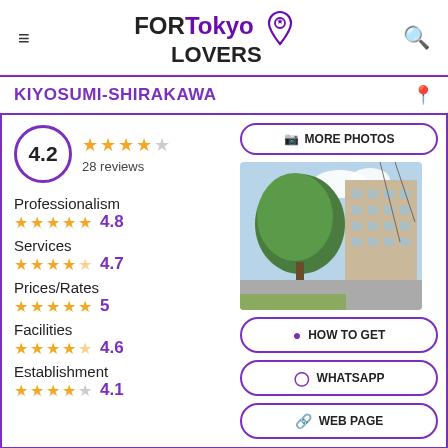FORTokyo LOVERS
KIYOSUMI-SHIRAKAWA
4.2 ★★★★☆ 28 reviews
Professionalism ★★★★★ 4.8
Services ★★★★½ 4.7
Prices/Rates ★★★★★ 5
Facilities ★★★★½ 4.6
Establishment ★★★★☆ 4.1
[Figure (photo): Exterior photo of a building near trees in Tokyo]
MORE PHOTOS
HOW TO GET
WHATSAPP
WEB PAGE